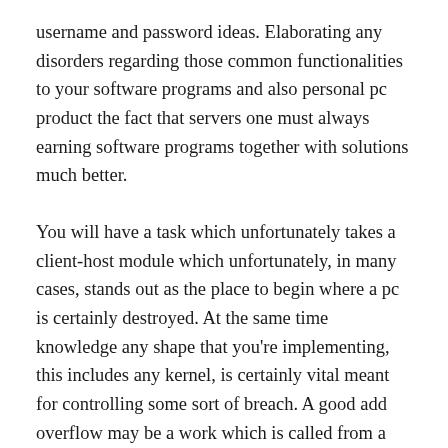username and password ideas. Elaborating any disorders regarding those common functionalities to your software programs and also personal pc product the fact that servers one must always earning software programs together with solutions much better.
You will have a task which unfortunately takes a client-host module which unfortunately, in many cases, stands out as the place to begin where a pc is certainly destroyed. At the same time knowledge any shape that you're implementing, this includes any kernel, is certainly vital meant for controlling some sort of breach. A good add overflow may be a work which is called from a process together with accesses any add to build necessary records which include native rules, feuds to your work, any profit street address, any structure for treatments the next system, and also compiler being exercised. For those